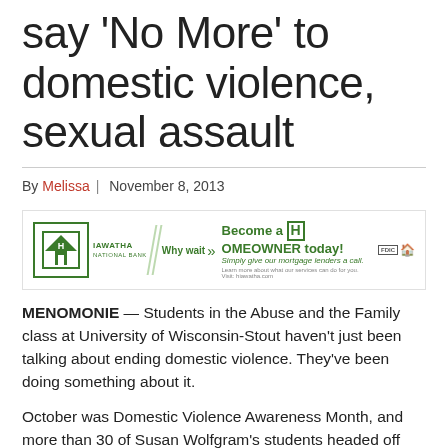say 'No More' to domestic violence, sexual assault
By Melissa  |  November 8, 2013
[Figure (other): Hiawatha National Bank advertisement: 'Why wait >> Become a HOMEOWNER today! Simply give our mortgage lenders a call.' with FDIC logo.]
MENOMONIE — Students in the Abuse and the Family class at University of Wisconsin-Stout haven't just been talking about ending domestic violence. They've been doing something about it.
October was Domestic Violence Awareness Month, and more than 30 of Susan Wolfgram's students headed off campus to five sites in west-central Wisconsin. They spread the word that acts of